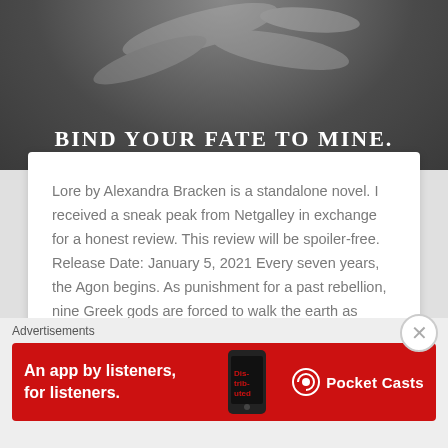[Figure (photo): Dark moody book cover image with text 'BIND YOUR FATE TO MINE.' in white serif letters on a dark gray background]
Lore by Alexandra Bracken is a standalone novel. I received a sneak peak from Netgalley in exchange for a honest review. This review will be spoiler-free. Release Date: January 5, 2021 Every seven years, the Agon begins. As punishment for a past rebellion, nine Greek gods are forced to walk the earth as mortals, hunted...
Continue Reading →
Advertisements
Advertisements
[Figure (screenshot): Pocket Casts advertisement banner: red background with text 'An app by listeners, for listeners.' and Pocket Casts logo]